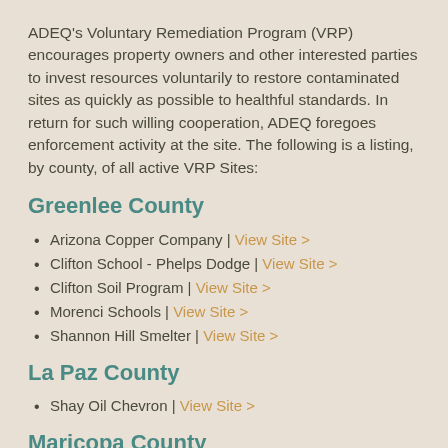ADEQ's Voluntary Remediation Program (VRP) encourages property owners and other interested parties to invest resources voluntarily to restore contaminated sites as quickly as possible to healthful standards. In return for such willing cooperation, ADEQ foregoes enforcement activity at the site. The following is a listing, by county, of all active VRP Sites:
Greenlee County
Arizona Copper Company | View Site >
Clifton School - Phelps Dodge | View Site >
Clifton Soil Program | View Site >
Morenci Schools | View Site >
Shannon Hill Smelter | View Site >
La Paz County
Shay Oil Chevron | View Site >
Maricopa County